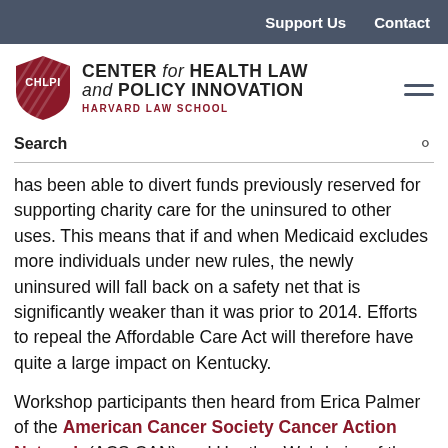Support Us   Contact
[Figure (logo): CHLPI shield logo and Center for Health Law and Policy Innovation Harvard Law School wordmark]
Search
has been able to divert funds previously reserved for supporting charity care for the uninsured to other uses. This means that if and when Medicaid excludes more individuals under new rules, the newly uninsured will fall back on a safety net that is significantly weaker than it was prior to 2014. Efforts to repeal the Affordable Care Act will therefore have quite a large impact on Kentucky.
Workshop participants then heard from Erica Palmer of the American Cancer Society Cancer Action Network (ACS CAN) and Heather Wehrheim of the American Lung...